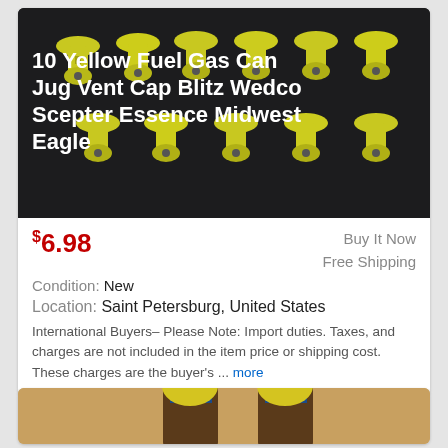[Figure (photo): Photo of 10 yellow fuel gas can jug vent caps arranged in rows on a dark background, with the product title text overlaid in white]
10 Yellow Fuel Gas Can Jug Vent Cap Blitz Wedco Scepter Essence Midwest Eagle
$6.98  Buy It Now  Free Shipping
Condition: New
Location: Saint Petersburg, United States
International Buyers– Please Note: Import duties. Taxes, and charges are not included in the item price or shipping cost. These charges are the buyer's ... more
[Figure (photo): Photo of two yellow fuel gas can vent caps with black spouts on a wooden surface]